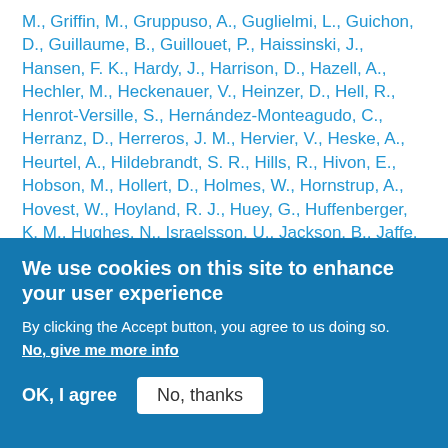M., Griffin, M., Gruppuso, A., Guglielmi, L., Guichon, D., Guillaume, B., Guillouet, P., Haissinski, J., Hansen, F. K., Hardy, J., Harrison, D., Hazell, A., Hechler, M., Heckenauer, V., Heinzer, D., Hell, R., Henrot-Versille, S., Hernández-Monteagudo, C., Herranz, D., Herreros, J. M., Hervier, V., Heske, A., Heurtel, A., Hildebrandt, S. R., Hills, R., Hivon, E., Hobson, M., Hollert, D., Holmes, W., Hornstrup, A., Hovest, W., Hoyland, R. J., Huey, G., Huffenberger, K. M., Hughes, N., Israelsson, U., Jackson, B., Jaffe, A., Jaffe, T. R., Jagemann, T., Jessen, N. C., Jewell, J., Jones, W., Juvela, M., Kaplan, J., Karlman, P., Keck, F., Keihanen, E., King, M., Kisner, T. S., Kletzkine
We use cookies on this site to enhance your user experience

By clicking the Accept button, you agree to us doing so.
No, give me more info

OK, I agree    No, thanks